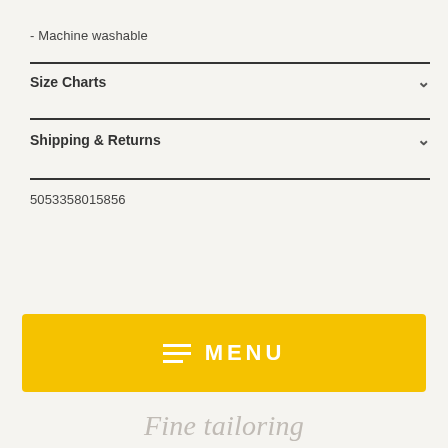- Machine washable
Size Charts
Shipping & Returns
5053358015856
Why choose us?
≡  MENU
Fine tailoring